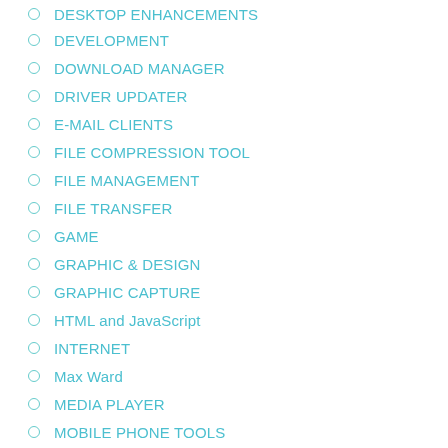DESKTOP ENHANCEMENTS
DEVELOPMENT
DOWNLOAD MANAGER
DRIVER UPDATER
E-MAIL CLIENTS
FILE COMPRESSION TOOL
FILE MANAGEMENT
FILE TRANSFER
GAME
GRAPHIC & DESIGN
GRAPHIC CAPTURE
HTML and JavaScript
INTERNET
Max Ward
MEDIA PLAYER
MOBILE PHONE TOOLS